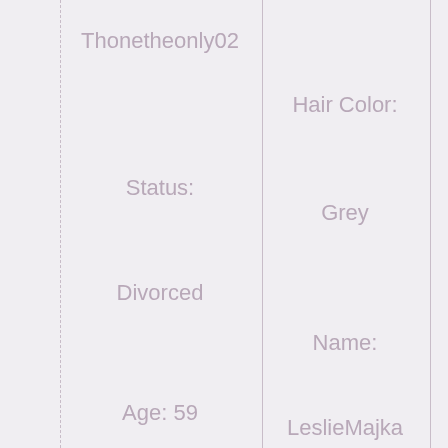Thonetheonly02
Status:
Divorced
Age: 59
City: Phoenix, AZ 85055
Hair Color:
Grey
Name:
LeslieMajka
Status:
Separated
Age: 43